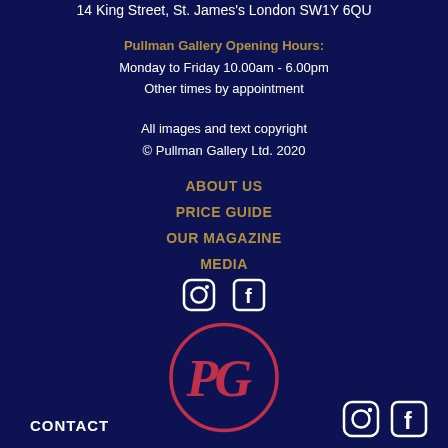14 King Street, St. James's London SW1Y 6QU
Pullman Gallery Opening Hours:
Monday to Friday 10.00am - 6.00pm
Other times by appointment
All images and text copyright
© Pullman Gallery Ltd. 2020
ABOUT US
PRICE GUIDE
OUR MAGAZINE
MEDIA
[Figure (logo): Instagram and Facebook social media icons (top)]
[Figure (logo): Pullman Gallery PG circular logo in red]
CONTACT
[Figure (logo): Instagram and Facebook social media icons (bottom right)]